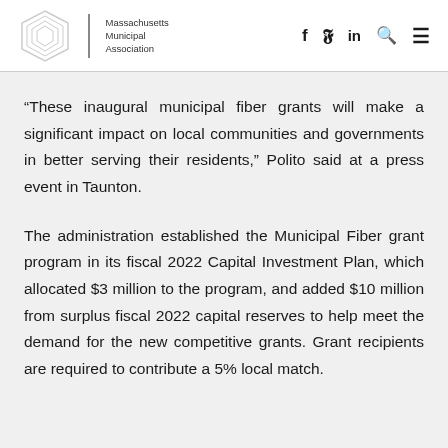MMA | Massachusetts Municipal Association | f y in Q ≡
“These inaugural municipal fiber grants will make a significant impact on local communities and governments in better serving their residents,” Polito said at a press event in Taunton.
The administration established the Municipal Fiber grant program in its fiscal 2022 Capital Investment Plan, which allocated $3 million to the program, and added $10 million from surplus fiscal 2022 capital reserves to help meet the demand for the new competitive grants. Grant recipients are required to contribute a 5% local match.